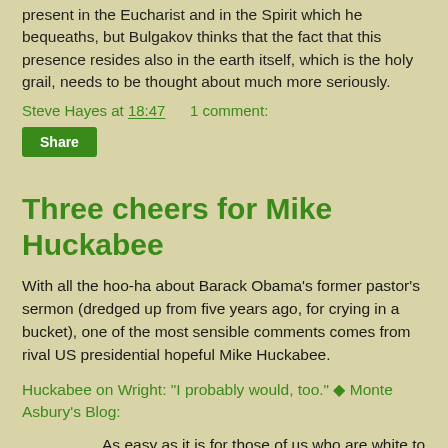present in the Eucharist and in the Spirit which he bequeaths, but Bulgakov thinks that the fact that this presence resides also in the earth itself, which is the holy grail, needs to be thought about much more seriously.
Steve Hayes at 18:47    1 comment:
Share
Three cheers for Mike Huckabee
With all the hoo-ha about Barack Obama's former pastor's sermon (dredged up from five years ago, for crying in a bucket), one of the most sensible comments comes from rival US presidential hopeful Mike Huckabee.
Huckabee on Wright: "I probably would, too." ◆ Monte Asbury's Blog:
As easy as it is for those of us who are white to look back and say, "That's a terrible statement," I